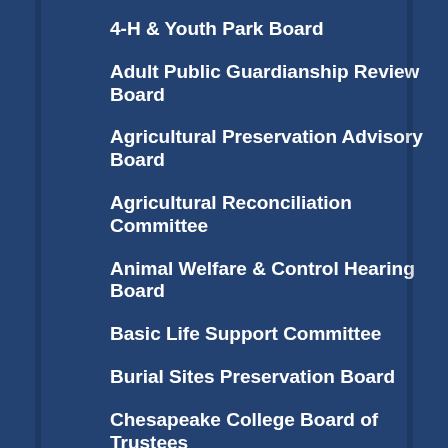4-H & Youth Park Board
Adult Public Guardianship Review Board
Agricultural Preservation Advisory Board
Agricultural Reconciliation Committee
Animal Welfare & Control Hearing Board
Basic Life Support Committee
Burial Sites Preservation Board
Chesapeake College Board of Trustees
Construction Trades Board
Drug & Alcohol Abuse Council